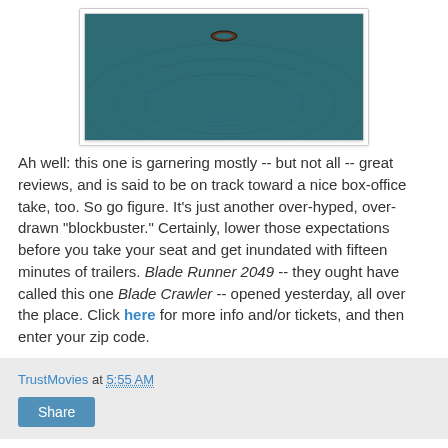[Figure (photo): Dark teal/blue atmospheric scene with a small ring or object floating near the top center. Appears to be a still from Blade Runner 2049 showing a landscape with horizontal light patterns.]
Ah well: this one is garnering mostly -- but not all -- great reviews, and is said to be on track toward a nice box-office take, too. So go figure. It's just another over-hyped, over-drawn "blockbuster." Certainly, lower those expectations before you take your seat and get inundated with fifteen minutes of trailers. Blade Runner 2049 -- they ought have called this one Blade Crawler -- opened yesterday, all over the place. Click here for more info and/or tickets, and then enter your zip code.
TrustMovies at 5:55 AM
Share
No comments: